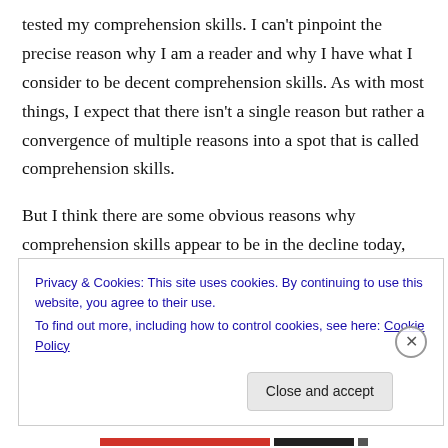tested my comprehension skills. I can't pinpoint the precise reason why I am a reader and why I have what I consider to be decent comprehension skills. As with most things, I expect that there isn't a single reason but rather a convergence of multiple reasons into a spot that is called comprehension skills.
But I think there are some obvious reasons why comprehension skills appear to be in the decline today, and many of them revolve around the role education plays in the lives of the young.
Privacy & Cookies: This site uses cookies. By continuing to use this website, you agree to their use.
To find out more, including how to control cookies, see here: Cookie Policy